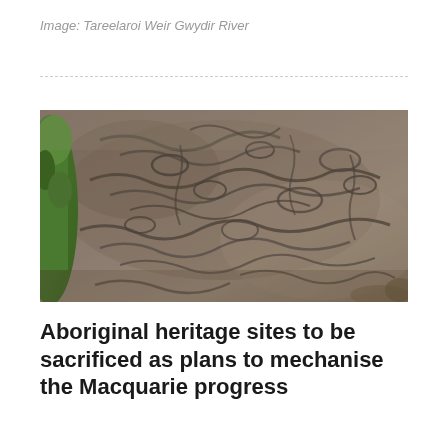Image: Tareelaroi Weir Gwydir River
[Figure (photo): Close-up photograph of a rock surface with Aboriginal engravings or petroglyphs carved into the stone. The rock surface shows numerous grooved and carved markings. Green grass is visible at the left edge of the image.]
Aboriginal heritage sites to be sacrificed as plans to mechanise the Macquarie progress